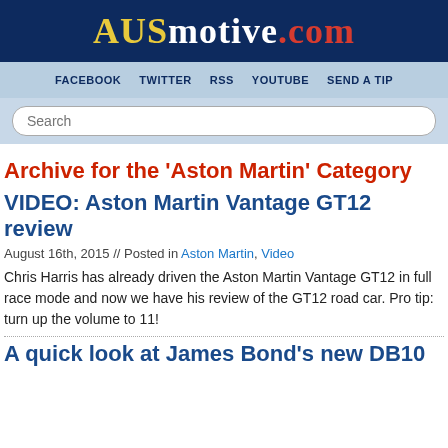AUSmotive.com
FACEBOOK  TWITTER  RSS  YOUTUBE  SEND A TIP
Search
Archive for the ‘Aston Martin’ Category
VIDEO: Aston Martin Vantage GT12 review
August 16th, 2015 // Posted in Aston Martin, Video
Chris Harris has already driven the Aston Martin Vantage GT12 in full race mode and now we have his review of the GT12 road car. Pro tip: turn up the volume to 11!
A quick look at James Bond’s new DB10